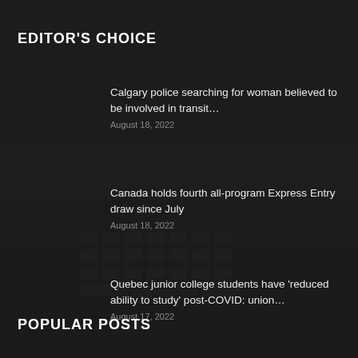EDITOR'S CHOICE
Calgary police searching for woman believed to be involved in transit… August 18, 2022
Canada holds fourth all-program Express Entry draw since July August 18, 2022
Quebec junior college students have 'reduced ability to study' post-COVID: union… August 17, 2022
POPULAR POSTS